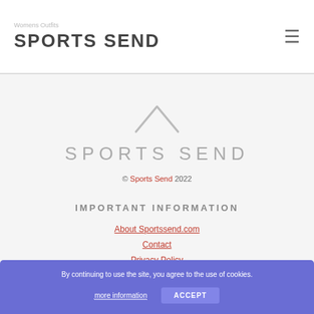Womens Outfits
SPORTS SEND
[Figure (logo): Sports Send chevron/caret logo icon in light gray]
SPORTS SEND
© Sports Send 2022
IMPORTANT INFORMATION
About Sportssend.com
Contact
Privacy Policy
By continuing to use the site, you agree to the use of cookies. more information ACCEPT